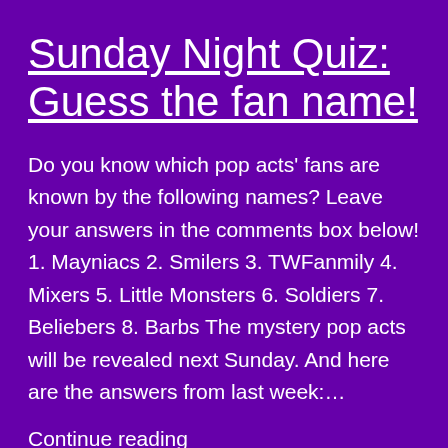Sunday Night Quiz: Guess the fan name!
Do you know which pop acts' fans are known by the following names? Leave your answers in the comments box below! 1. Mayniacs 2. Smilers 3. TWFanmily 4. Mixers 5. Little Monsters 6. Soldiers 7. Beliebers 8. Barbs The mystery pop acts will be revealed next Sunday. And here are the answers from last week:…
Continue reading